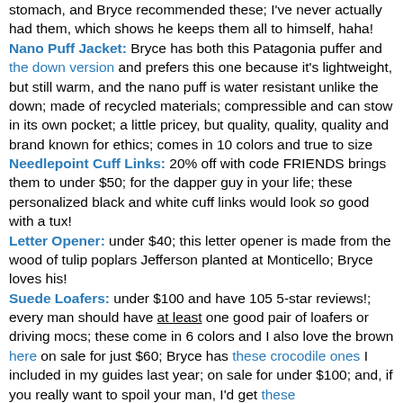stomach, and Bryce recommended these; I've never actually had them, which shows he keeps them all to himself, haha!
Nano Puff Jacket: Bryce has both this Patagonia puffer and the down version and prefers this one because it's lightweight, but still warm, and the nano puff is water resistant unlike the down; made of recycled materials; compressible and can stow in its own pocket; a little pricey, but quality, quality, quality and brand known for ethics; comes in 10 colors and true to size
Needlepoint Cuff Links: 20% off with code FRIENDS brings them to under $50; for the dapper guy in your life; these personalized black and white cuff links would look so good with a tux!
Letter Opener: under $40; this letter opener is made from the wood of tulip poplars Jefferson planted at Monticello; Bryce loves his!
Suede Loafers: under $100 and have 105 5-star reviews!; every man should have at least one good pair of loafers or driving mocs; these come in 6 colors and I also love the brown here on sale for just $60; Bryce has these crocodile ones I included in my guides last year; on sale for under $100; and, if you really want to spoil your man, I'd get these